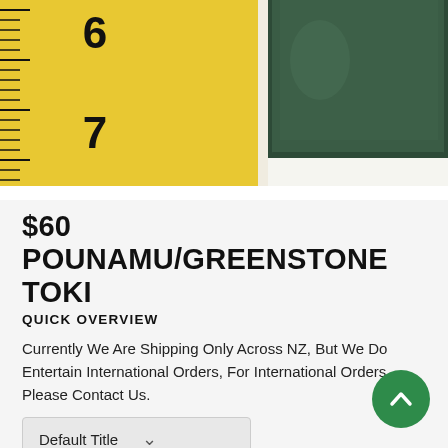[Figure (photo): Photo of a dark green pounamu/greenstone toki (adze) next to a yellow ruler showing measurements between 6 and 7 cm marks.]
$60 POUNAMU/GREENSTONE TOKI
QUICK OVERVIEW
Currently We Are Shipping Only Across NZ, But We Do Entertain International Orders, For International Orders Please Contact Us.